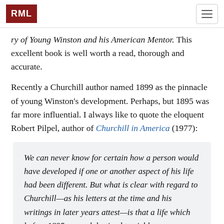RML
ry of Young Winston and his American Mentor. This excellent book is well worth a read, thorough and accurate.
Recently a Churchill author named 1899 as the pinnacle of young Winston’s development. Perhaps, but 1895 was far more influential. I always like to quote the eloquent Robert Pilpel, author of Churchill in America (1977):
We can never know for certain how a person would have developed if one or another aspect of his life had been different. But what is clear with regard to Churchill—as his letters at the time and his writings in later years attest—is that a life which before 1895 seemed destined to yield